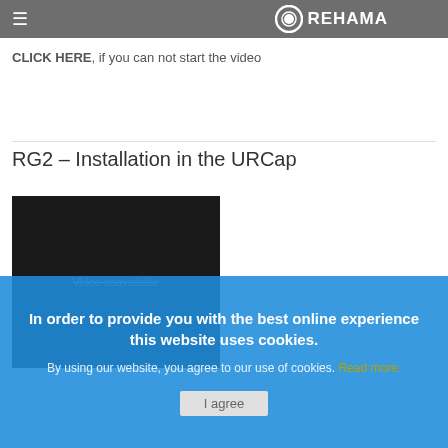REHAMA
CLICK HERE, if you can not start the video
RG2 – Installation in the URCap
[Figure (screenshot): Dark video player area with 'Video unavailable' text shown in strikethrough style]
In order to provide you with the best online experience this website uses cookies.
By using our website, you agree to our use of cookies. Read more.
I agree